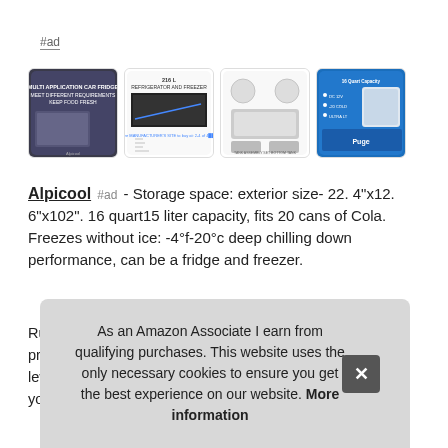#ad
[Figure (photo): Row of four product thumbnail images for Alpicool car refrigerator/freezer products]
Alpicool #ad - Storage space: exterior size- 22. 4"x12. 6"x102". 16 quart15 liter capacity, fits 20 cans of Cola. Freezes without ice: -4°f-20°c deep chilling down performance, can be a fridge and freezer.
Run
prot
leve
your
As an Amazon Associate I earn from qualifying purchases. This website uses the only necessary cookies to ensure you get the best experience on our website. More information